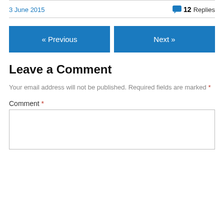3 June 2015
💬 12 Replies
[Figure (other): Navigation buttons: « Previous and Next »]
Leave a Comment
Your email address will not be published. Required fields are marked *
Comment *